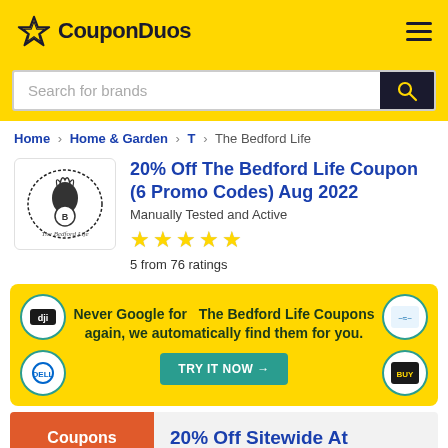CouponDuos
Search for brands
Home > Home & Garden > T > The Bedford Life
20% Off The Bedford Life Coupon (6 Promo Codes) Aug 2022
Manually Tested and Active
5 from 76 ratings
Never Google for The Bedford Life Coupons again, we automatically find them for you.
TRY IT NOW →
Coupons
20% Off Sitewide At